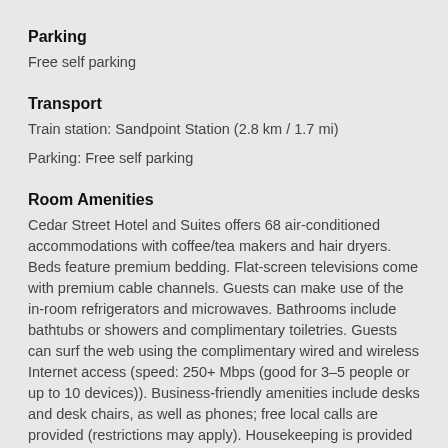Parking
Free self parking
Transport
Train station: Sandpoint Station (2.8 km / 1.7 mi)
Parking: Free self parking
Room Amenities
Cedar Street Hotel and Suites offers 68 air-conditioned accommodations with coffee/tea makers and hair dryers. Beds feature premium bedding. Flat-screen televisions come with premium cable channels. Guests can make use of the in-room refrigerators and microwaves. Bathrooms include bathtubs or showers and complimentary toiletries. Guests can surf the web using the complimentary wired and wireless Internet access (speed: 250+ Mbps (good for 3–5 people or up to 10 devices)). Business-friendly amenities include desks and desk chairs, as well as phones; free local calls are provided (restrictions may apply). Housekeeping is provided on request.
Flat-screen television